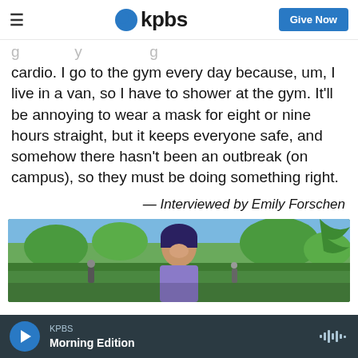KPBS | Give Now
cardio. I go to the gym every day because, um, I live in a van, so I have to shower at the gym. It'll be annoying to wear a mask for eight or nine hours straight, but it keeps everyone safe, and somehow there hasn't been an outbreak (on campus), so they must be doing something right.
— Interviewed by Emily Forschen
[Figure (photo): Young woman with dark blue-tinted hair smiling outdoors on a sunny campus with trees and green grass in the background.]
KPBS Morning Edition